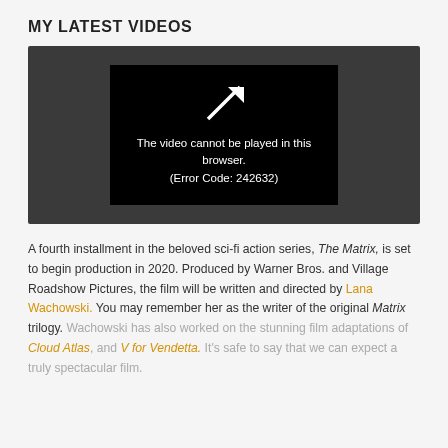MY LATEST VIDEOS
[Figure (screenshot): Video player showing error: 'The video cannot be played in this browser. (Error Code: 242632)']
A fourth installment in the beloved sci-fi action series, The Matrix, is set to begin production in 2020. Produced by Warner Bros. and Village Roadshow Pictures, the film will be written and directed by Lana Wachowski. You may remember her as the writer of the original Matrix trilogy. Wachowski has also worked on the stunning film adaptations of Cloud Atlas, and V for Vendetta. It's safe to say that we can expect a truly spectacular film.